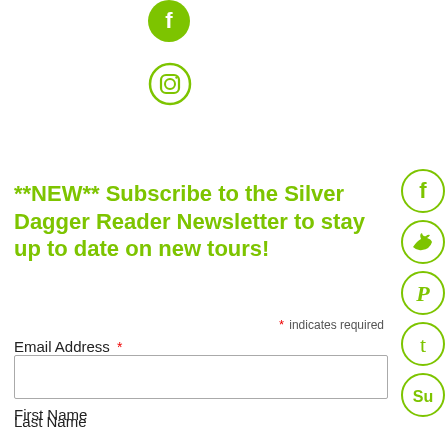[Figure (logo): Green filled circle Facebook icon at top center]
[Figure (logo): Green outlined circle Instagram icon below Facebook icon]
**NEW** Subscribe to the Silver Dagger Reader Newsletter to stay up to date on new tours!
* indicates required
Email Address *
First Name
Last Name
[Figure (logo): Green outline circle with Facebook f icon on right side]
[Figure (logo): Green outline circle with Twitter bird icon on right side]
[Figure (logo): Green outline circle with Pinterest P icon on right side]
[Figure (logo): Green outline circle with Tumblr t icon on right side]
[Figure (logo): Green outline circle with StumbleUpon icon on right side]